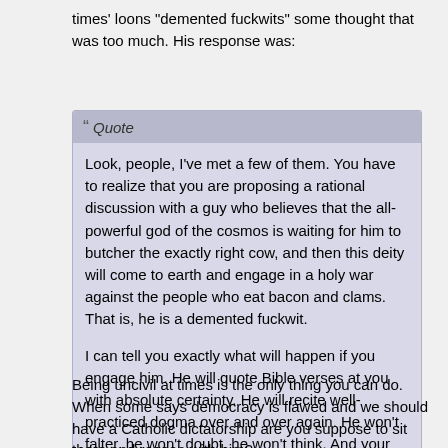times' loons "demented fuckwits" some thought that was too much. His response was:
Quote

Look, people, I've met a few of them. You have to realize that you are proposing a rational discussion with a guy who believes that the all-powerful god of the cosmos is waiting for him to butcher the exactly right cow, and then this deity will come to earth and engage in a holy war against the people who eat bacon and clams. That is, he is a demented fuckwit.

I can tell you exactly what will happen if you engage him. He will quote Bible verses at you with absolute certainty. He will recite well-practiced dogma over and over again. He won't falter, he won't doubt, he won't think. And your audience will be impressed at his unwavering command of the "facts," and that you, O Wise and Rational Science Guy, think his story is worth arguing about, as equals.
Being uncivil at times is the only thing you can do. When some says democracy is flawed and we should have a Catholic dictatorship are you suppose to sit there and reason with him?